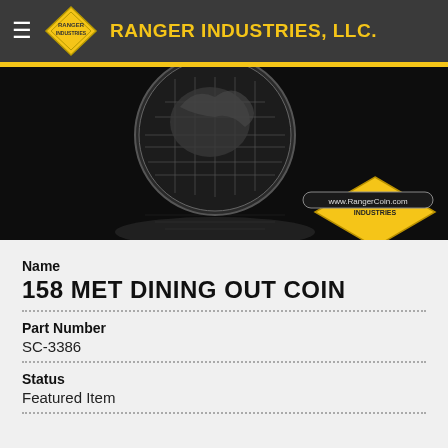RANGER INDUSTRIES, LLC.
[Figure (photo): Product photo of a challenge coin featuring a military/MET dining out design, black background with coin reflection, Ranger Industries logo and www.RangerCoin.com watermark]
Name
158 MET DINING OUT COIN
Part Number
SC-3386
Status
Featured Item